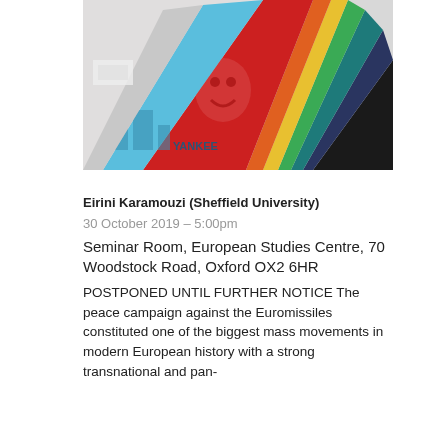[Figure (photo): A fan-shaped arrangement of colorful protest posters and artworks, including a red poster with a face, rainbow-colored striped panels, and one reading 'YANKEE'. The image is a photograph of art related to peace movements.]
Eirini Karamouzi (Sheffield University)
30 October 2019 – 5:00pm
Seminar Room, European Studies Centre, 70 Woodstock Road, Oxford OX2 6HR
POSTPONED UNTIL FURTHER NOTICE The peace campaign against the Euromissiles constituted one of the biggest mass movements in modern European history with a strong transnational and pan-